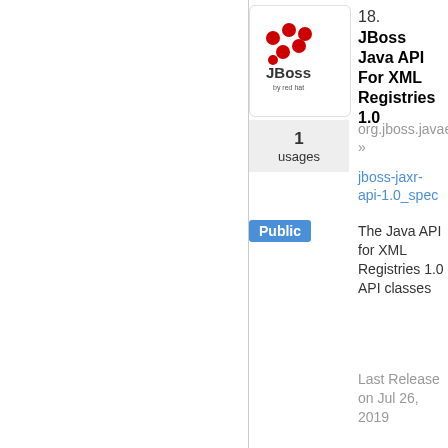[Figure (logo): JBoss by Red Hat logo — red circular dots arranged in a grid pattern with 'JBoss' text and 'by red hat' underneath, inside a rounded rectangle border]
18.
JBoss Java API For XML Registries 1.0
1 usages
org.jboss.javaee »
jboss-jaxr-api-1.0_spec
Public
The Java API for XML Registries 1.0 API classes
Last Release on Jul 26, 2019